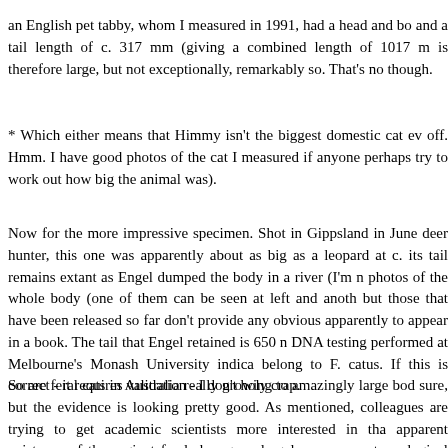an English pet tabby, whom I measured in 1991, had a head and body and a tail length of c. 317 mm (giving a combined length of 1017 m is therefore large, but not exceptionally, remarkably so. That's no though.
* Which either means that Himmy isn't the biggest domestic cat ev off. Hmm. I have good photos of the cat I measured if anyone perhaps try to work out how big the animal was).
Now for the more impressive specimen. Shot in Gippsland in June deer hunter, this one was apparently about as big as a leopard at c. its tail remains extant as Engel dumped the body in a river (I'm n photos of the whole body (one of them can be seen at left and anoth but those that have been released so far don't provide any obvious apparently to appear in a book. The tail that Engel retained is 650 m DNA testing performed at Melbourne's Monash University indica belong to F. catus. If this is correct - it requires validation - I don't holy crap.
So are feral cats in Australia really growing to amazingly large bod sure, but the evidence is looking pretty good. As mentioned, colleagues are trying to get academic scientists more interested in tha apparent existence of these giant ferals has gone largely unrec cryptozoological community. I for one aim to keep up to date with th further developments here at Tetrapod Zoology. I am planning to att